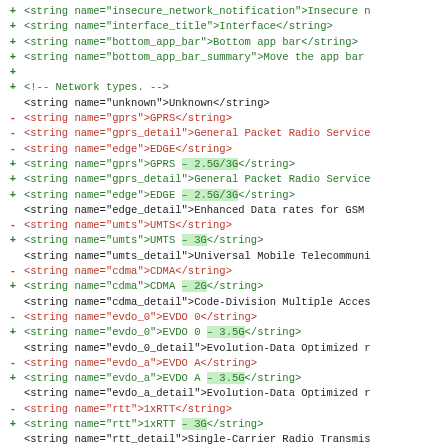[Figure (screenshot): A code diff view showing XML string resource changes. Green lines with + markers show additions, red lines with - markers show deletions, and neutral lines show unchanged context. The diff modifies network type string labels to append generation suffixes like 2.5G/3G, 3G, 2G, 3.5G.]